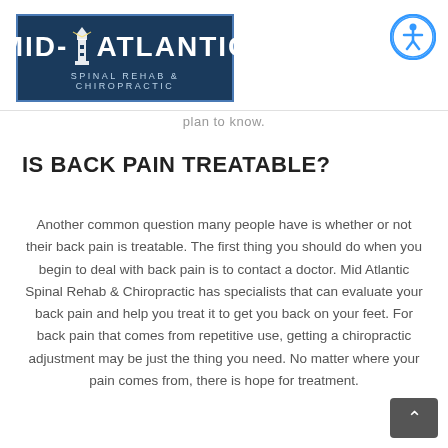[Figure (logo): Mid-Atlantic Spinal Rehab & Chiropractic logo — dark navy blue rectangle with white text and lighthouse icon]
[Figure (other): Accessibility icon button — blue circle with white wheelchair/person symbol]
plan to know.
IS BACK PAIN TREATABLE?
Another common question many people have is whether or not their back pain is treatable. The first thing you should do when you begin to deal with back pain is to contact a doctor. Mid Atlantic Spinal Rehab & Chiropractic has specialists that can evaluate your back pain and help you treat it to get you back on your feet. For back pain that comes from repetitive use, getting a chiropractic adjustment may be just the thing you need. No matter where your pain comes from, there is hope for treatment.